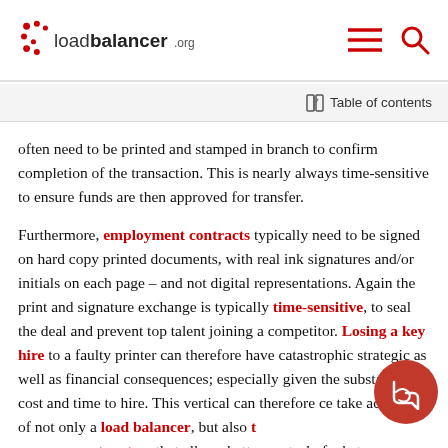loadbalancer.org
Table of contents
often need to be printed and stamped in branch to confirm completion of the transaction. This is nearly always time-sensitive to ensure funds are then approved for transfer.
Furthermore, employment contracts typically need to be signed on hard copy printed documents, with real ink signatures and/or initials on each page – and not digital representations. Again the print and signature exchange is typically time-sensitive, to seal the deal and prevent top talent joining a competitor. Losing a key hire to a faulty printer can therefore have catastrophic strategic as well as financial consequences; especially given the substantial cost and time to hire. This vertical can therefore ce... take advantage of not only a load balancer, but also... management system that allows better control of what.